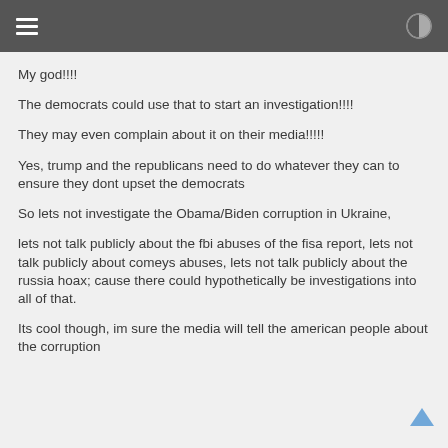My god!!!!
The democrats could use that to start an investigation!!!!
They may even complain about it on their media!!!!!
Yes, trump and the republicans need to do whatever they can to ensure they dont upset the democrats
So lets not investigate the Obama/Biden corruption in Ukraine,
lets not talk publicly about the fbi abuses of the fisa report, lets not talk publicly about comeys abuses, lets not talk publicly about the russia hoax; cause there could hypothetically be investigations into all of that.
Its cool though, im sure the media will tell the american people about the corruption